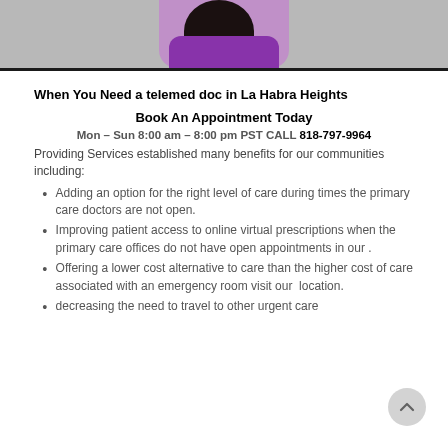[Figure (photo): Partial photo of a woman in a purple top with dark hair, shown from mid-torso up, against a light background. Bottom of image cropped at top of page.]
When You Need a telemed doc in La Habra Heights
Book An Appointment Today
Mon – Sun 8:00 am – 8:00 pm PST CALL 818-797-9964
Providing Services established many benefits for our communities including:
Adding an option for the right level of care during times the primary care doctors are not open.
Improving patient access to online virtual prescriptions when the primary care offices do not have open appointments in our .
Offering a lower cost alternative to care than the higher cost of care associated with an emergency room visit our  location.
decreasing the need to travel to other urgent care